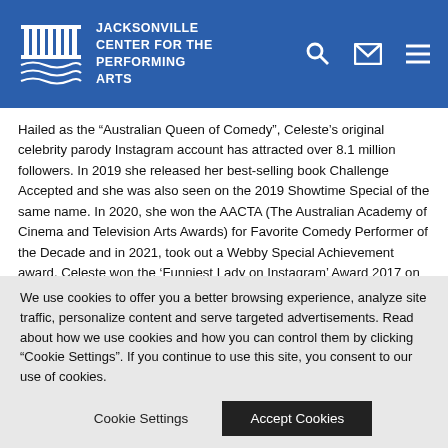Jacksonville Center For The Performing Arts
Hailed as the “Australian Queen of Comedy”, Celeste’s original celebrity parody Instagram account has attracted over 8.1 million followers. In 2019 she released her best-selling book Challenge Accepted and she was also seen on the 2019 Showtime Special of the same name. In 2020, she won the AACTA (The Australian Academy of Cinema and Television Arts Awards) for Favorite Comedy Performer of the Decade and in 2021, took out a Webby Special Achievement award. Celeste won the ‘Funniest Lady on Instagram’ Award 2017 on WhoHaha.com; a digital platform co-founded by actor, director, producer, Elizabeth Banks which showcases women in comedy around the world. In 2019 she was included in Variety Magazine ‘Variety’s 10 Comics to Watch’ and she hosted the 5th Annual Daily Front Row Awards at the Beverly Hills hotel where the best in fashion in Hollywood are honored. She is
We use cookies to offer you a better browsing experience, analyze site traffic, personalize content and serve targeted advertisements. Read about how we use cookies and how you can control them by clicking “Cookie Settings”. If you continue to use this site, you consent to our use of cookies.
Cookie Settings   Accept Cookies